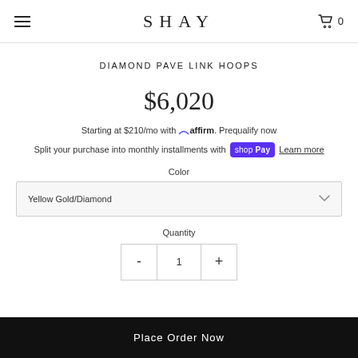SHAY
DIAMOND PAVE LINK HOOPS
$6,020
Starting at $210/mo with affirm. Prequalify now
Split your purchase into monthly installments with Shop Pay Learn more
Color
Yellow Gold/Diamond
Quantity
- 1 +
Place Order Now